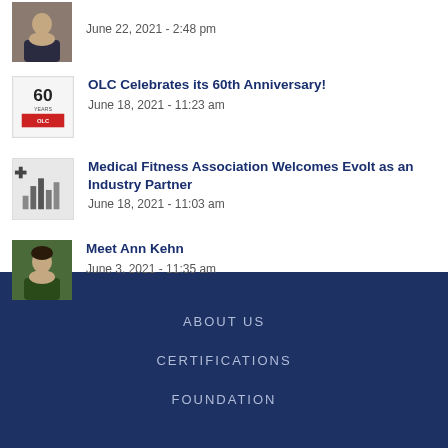June 22, 2021 - 2:48 pm
OLC Celebrates its 60th Anniversary!
June 18, 2021 - 11:23 am
Medical Fitness Association Welcomes Evolt as an Industry Partner
June 18, 2021 - 11:03 am
Meet Ann Kehn
June 3, 2021 - 11:35 am
ABOUT US
CERTIFICATIONS
FOUNDATION